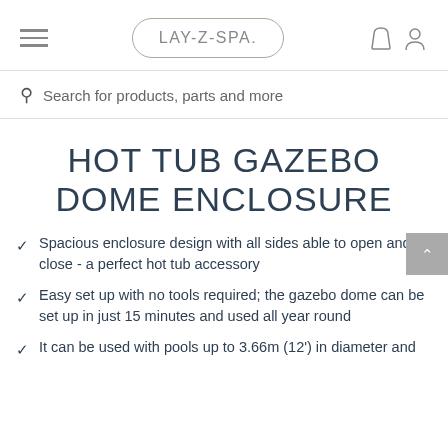LAY-Z-SPA
Search for products, parts and more
HOT TUB GAZEBO DOME ENCLOSURE
Spacious enclosure design with all sides able to open and close - a perfect hot tub accessory
Easy set up with no tools required; the gazebo dome can be set up in just 15 minutes and used all year round
It can be used with pools up to 3.66m (12') in diameter and